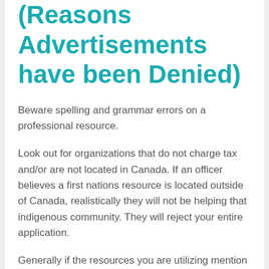(Reasons Advertisements have been Denied)
Beware spelling and grammar errors on a professional resource.
Look out for organizations that do not charge tax and/or are not located in Canada. If an officer believes a first nations resource is located outside of Canada, realistically they will not be helping that indigenous community. They will reject your entire application.
Generally if the resources you are utilizing mention the Temporary Foreign Worker Program, discusses immigration consultants or lawyers, mentions the Labour Market Impact Assessment (LMIA) by name,